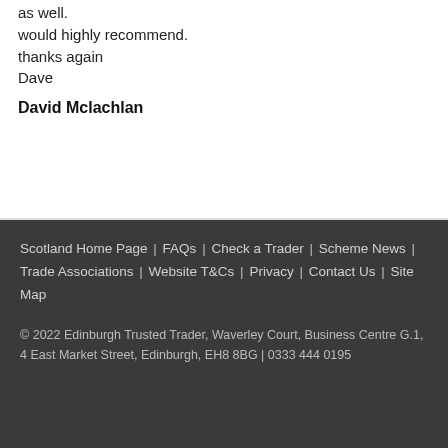as well.
would highly recommend.
thanks again
Dave
David Mclachlan
Scotland Home Page | FAQs | Check a Trader | Scheme News | Trade Associations | Website T&Cs | Privacy | Contact Us | Site Map
© 2022 Edinburgh Trusted Trader, Waverley Court, Business Centre G.1, 4 East Market Street, Edinburgh, EH8 8BG | 0333 444 0195